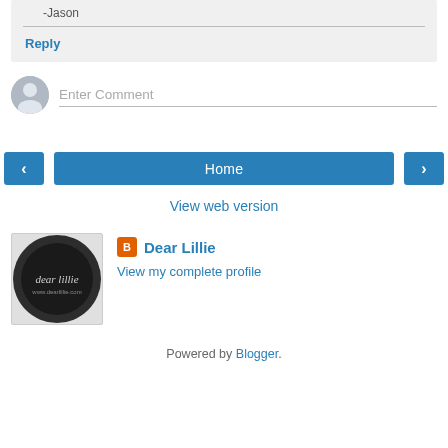-Jason
Reply
Enter Comment
Home
View web version
Dear Lillie
View my complete profile
Powered by Blogger.